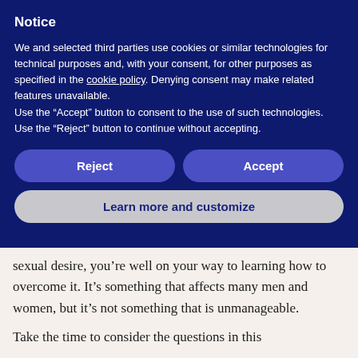Notice
We and selected third parties use cookies or similar technologies for technical purposes and, with your consent, for other purposes as specified in the cookie policy. Denying consent may make related features unavailable.
Use the “Accept” button to consent to the use of such technologies. Use the “Reject” button to continue without accepting.
Reject
Accept
Learn more and customize
sexual desire, you’re well on your way to learning how to overcome it. It’s something that affects many men and women, but it’s not something that is unmanageable.
Take the time to consider the questions in this